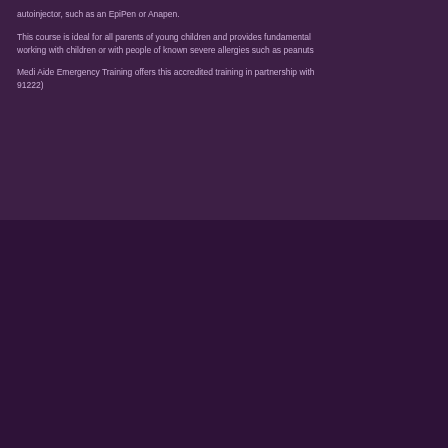autoinjector, such as an EpiPen or Anapen.
This course is ideal for all parents of young children and provides fundamental working with children or with people of known severe allergies such as peanuts
Medi Aide Emergency Training offers this accredited training in partnership with 91222)
Mediaide Emergency Training
MediAide Emergency Training offers assistance in protecting people's lives by providing First Aid courses that give the skills to render lifesaving assistance.

Our commitment to the acquisition of practical lifesaving skills in the real world & work environment are reflected within our newly developed training regimes, competitive and high quality flexible customised service.
Contact Det
ph. 8355 393
fax. 8355 66
info@media
www.mediai

Copyright (c)